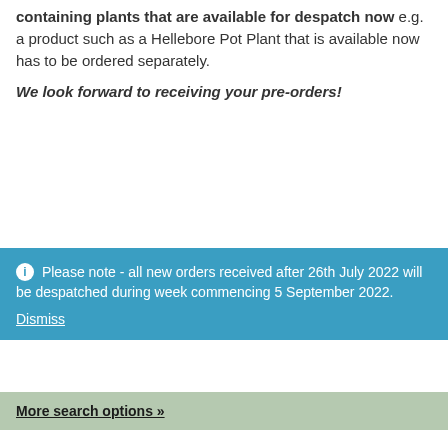containing plants that are available for despatch now e.g. a product such as a Hellebore Pot Plant that is available now has to be ordered separately.
We look forward to receiving your pre-orders!
Please note - all new orders received after 26th July 2022 will be despatched during week commencing 5 September 2022. Dismiss
More search options »